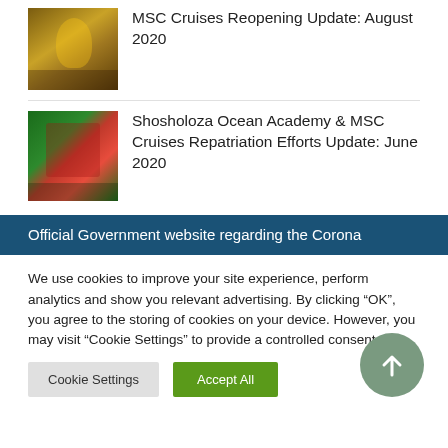[Figure (photo): Thumbnail photo of a person in a yellow uniform on a cruise ship]
MSC Cruises Reopening Update: August 2020
[Figure (photo): Thumbnail photo of crew members in red uniforms at a service desk]
Shosholoza Ocean Academy & MSC Cruises Repatriation Efforts Update: June 2020
Official Government website regarding the Corona
We use cookies to improve your site experience, perform analytics and show you relevant advertising. By clicking “OK”, you agree to the storing of cookies on your device. However, you may visit “Cookie Settings” to provide a controlled consent.
Cookie Settings
Accept All